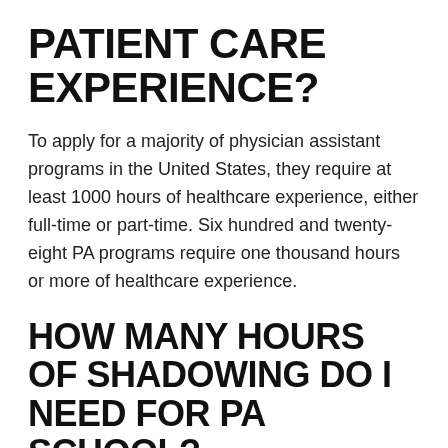PATIENT CARE EXPERIENCE?
To apply for a majority of physician assistant programs in the United States, they require at least 1000 hours of healthcare experience, either full-time or part-time. Six hundred and twenty-eight PA programs require one thousand hours or more of healthcare experience.
HOW MANY HOURS OF SHADOWING DO I NEED FOR PA SCHOOL?